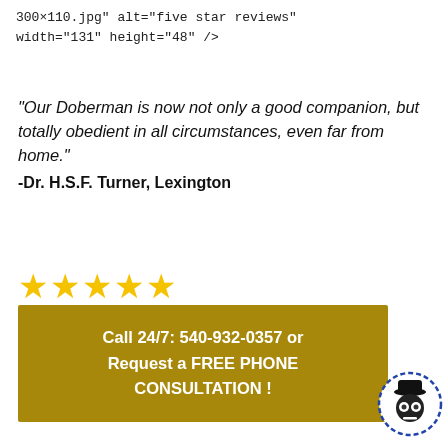300×110.jpg" alt="five star reviews" width="131" height="48" />
“Our Doberman is now not only a good companion, but totally obedient in all circumstances, even far from home.” -Dr. H.S.F. Turner, Lexington
[Figure (illustration): Five gold/yellow star rating icons]
[Figure (illustration): Gold call-to-action banner: Call 24/7: 540-932-0357 or Request a FREE PHONE CONSULTATION!]
[Figure (logo): Small circular badge with dashed blue border showing a cartoon skull/robot icon]